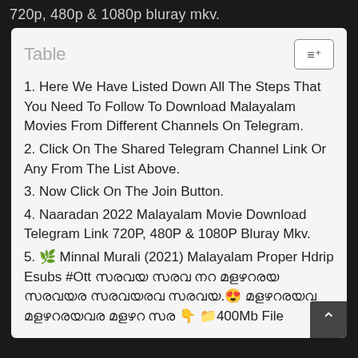720p, 480p & 1080p bluray mkv.
Table
1. Here We Have Listed Down All The Steps That You Need To Follow To Download Malayalam Movies From Different Channels On Telegram.
2. Click On The Shared Telegram Channel Link Or Any From The List Above.
3. Now Click On The Join Button.
4. Naaradan 2022 Malayalam Movie Download Telegram Link 720P, 480P & 1080P Bluray Mkv.
5. 🌿 Minnal Murali (2021) Malayalam Proper Hdrip Esubs #Ott [Malayalam text] 😍 [Malayalam text] 👇 📁400Mb File